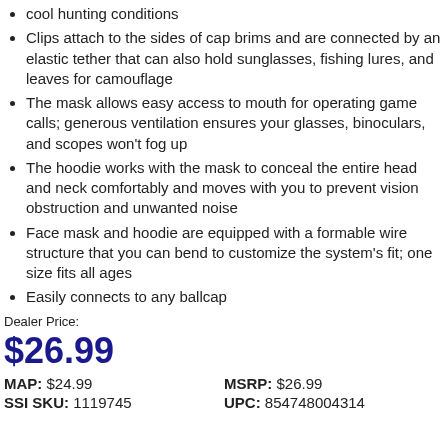cool hunting conditions
Clips attach to the sides of cap brims and are connected by an elastic tether that can also hold sunglasses, fishing lures, and leaves for camouflage
The mask allows easy access to mouth for operating game calls; generous ventilation ensures your glasses, binoculars, and scopes won't fog up
The hoodie works with the mask to conceal the entire head and neck comfortably and moves with you to prevent vision obstruction and unwanted noise
Face mask and hoodie are equipped with a formable wire structure that you can bend to customize the system's fit; one size fits all ages
Easily connects to any ballcap
Dealer Price:
$26.99
| MAP: $24.99 | MSRP: $26.99 |
| SSI SKU: 1119745 | UPC: 854748004314 |